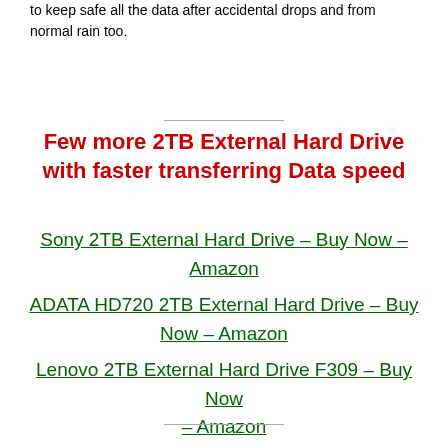to keep safe all the data after accidental drops and from normal rain too.
Few more 2TB External Hard Drive with faster transferring Data speed
Sony 2TB External Hard Drive – Buy Now – Amazon
ADATA HD720 2TB External Hard Drive – Buy Now – Amazon
Lenovo 2TB External Hard Drive F309 – Buy Now – Amazon